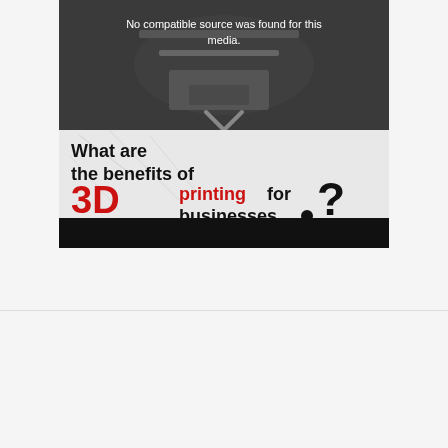[Figure (screenshot): A media player error screen showing a dark background with a 3D printer image, an X close button, and text reading 'No compatible source was found for this media.' Below is a graphic asking 'What are the benefits of 3D printing for businesses?' with '3D' and 'printing' in red, rest in black, on a marble-textured background. The bottom portion is a black control bar.]